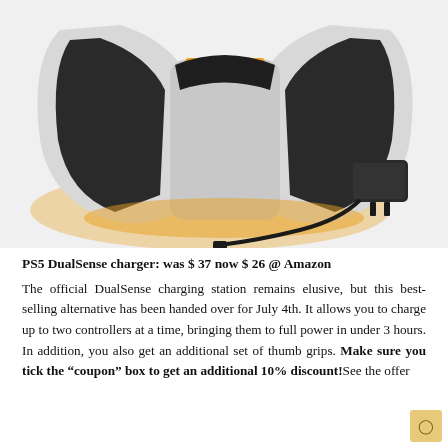[Figure (photo): Product photo of a PS5 DualSense charging station with orange ambient lighting, four black thumb grip caps displayed in front, and a wall charger/power adapter with cable shown to the right side.]
PS5 DualSense charger: was $ 37 now $ 26 @ Amazon
The official DualSense charging station remains elusive, but this best-selling alternative has been handed over for July 4th. It allows you to charge up to two controllers at a time, bringing them to full power in under 3 hours. In addition, you also get an additional set of thumb grips. Make sure you tick the “coupon” box to get an additional 10% discount!See the offer